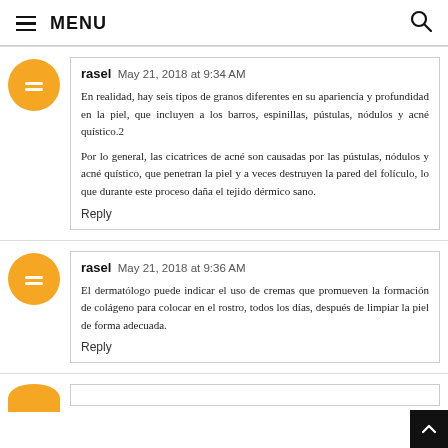≡ MENU
rasel  May 21, 2018 at 9:34 AM
En realidad, hay seis tipos de granos diferentes en su apariencia y profundidad en la piel, que incluyen a los barros, espinillas, pústulas, nódulos y acné quístico.2

Por lo general, las cicatrices de acné son causadas por las pústulas, nódulos y acné quístico, que penetran la piel y a veces destruyen la pared del folículo, lo que durante este proceso daña el tejido dérmico sano.

Reply
rasel  May 21, 2018 at 9:36 AM
El dermatólogo puede indicar el uso de cremas que promueven la formación de colágeno para colocar en el rostro, todos los días, después de limpiar la piel de forma adecuada.

Reply